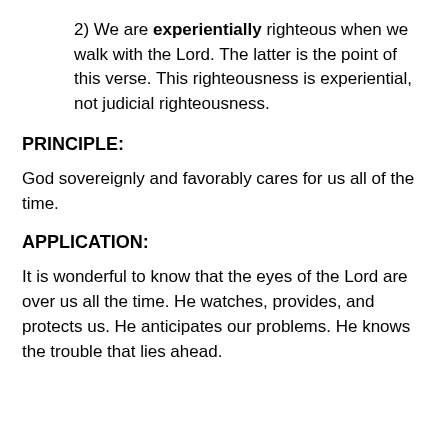2) We are experientially righteous when we walk with the Lord. The latter is the point of this verse. This righteousness is experiential, not judicial righteousness.
PRINCIPLE:
God sovereignly and favorably cares for us all of the time.
APPLICATION:
It is wonderful to know that the eyes of the Lord are over us all the time. He watches, provides, and protects us. He anticipates our problems. He knows the trouble that lies ahead.